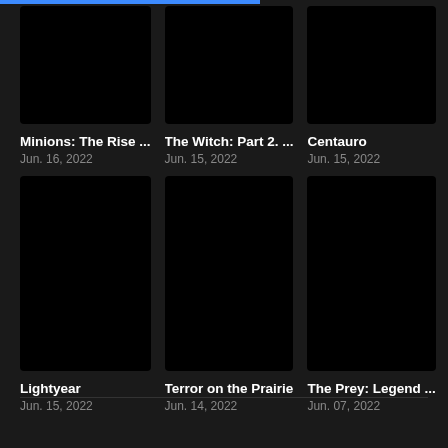[Figure (screenshot): Movie thumbnail placeholder - black rectangle for Minions: The Rise...]
Minions: The Rise ...
Jun. 16, 2022
[Figure (screenshot): Movie thumbnail placeholder - black rectangle for The Witch: Part 2. ...]
The Witch: Part 2. ...
Jun. 15, 2022
[Figure (screenshot): Movie thumbnail placeholder - black rectangle for Centauro]
Centauro
Jun. 15, 2022
[Figure (screenshot): Movie thumbnail placeholder - black rectangle for Lightyear]
Lightyear
Jun. 15, 2022
[Figure (screenshot): Movie thumbnail placeholder - black rectangle for Terror on the Prairie]
Terror on the Prairie
Jun. 14, 2022
[Figure (screenshot): Movie thumbnail placeholder - black rectangle for The Prey: Legend ...]
The Prey: Legend ...
Jun. 07, 2022